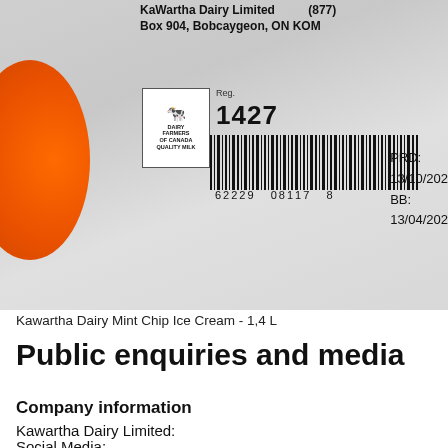[Figure (photo): Close-up photo of the bottom/back of a Kawartha Dairy ice cream container showing the label with company name 'KaWartha Dairy Limited', address 'Box 904, Bobcaygeon, ON KOM', Reg. 1427, Dairy Farmers of Canada logo, barcode '62229 08117 8', PRD: 13/10/202, BB: 13/04/202, and an orange cap on the left side.]
Kawartha Dairy Mint Chip Ice Cream - 1,4 L
Public enquiries and media
Company information
Kawartha Dairy Limited:
Social Media: